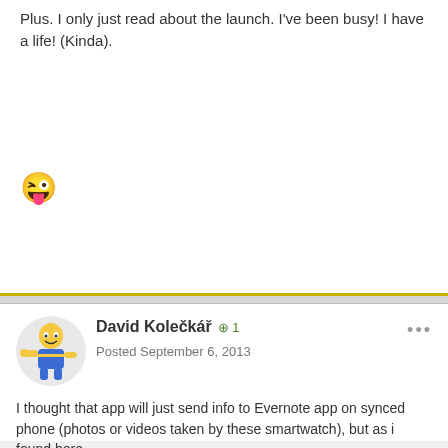Plus. I only just read about the launch. I've been busy! I have a life! (Kinda).
[Figure (illustration): Winking smiley face emoji]
David Kolečkář +1
Posted September 6, 2013
I thought that app will just send info to Evernote app on synced phone (photos or videos taken by these smartwatch), but as i found here - http://www.heavy.com/tech/2013/09/top-best-apps-samsung-galaxy-gear-smartwatch/
They're saying "The watch's weakness of requiring a Samsung phone nearby could hurt its potential, but Evernote is one of the few apps that actually runs on the watch itself. The helpful memory tool would be an excellent addition the device but the functions of Evernote for Galaxy Gear